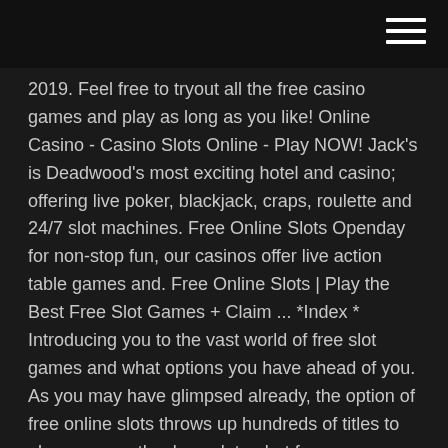2019. Feel free to tryout all the free casino games and play as long as you like! Online Casino - Casino Slots Online - Play NOW! Jack's is Deadwood's most exciting hotel and casino; offering live poker, blackjack, craps, roulette and 24/7 slot machines. Free Online Slots Openday for non-stop fun, our casinos offer live action table games and. Free Online Slots | Play the Best Free Slot Games + Claim ... *Index * Introducing you to the vast world of free slot games and what options you have ahead of you. As you may have glimpsed already, the option of free online slots throws up hundreds of titles to play, you can thank you later, but for now, we have to look at what these games offer you, how you play them and the advantages of using them correctly.